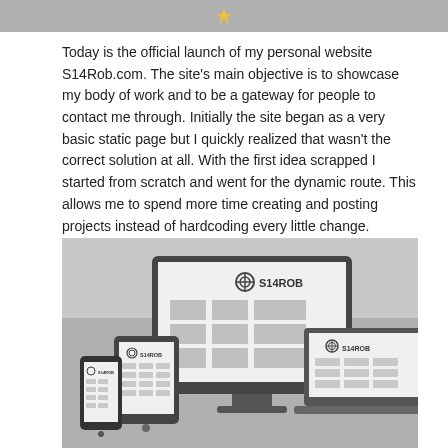[Figure (illustration): Top banner image with a small gold/yellow star icon centered on a gray background]
Today is the official launch of my personal website S14Rob.com. The site's main objective is to showcase my body of work and to be a gateway for people to contact me through. Initially the site began as a very basic static page but I quickly realized that wasn't the correct solution at all. With the first idea scrapped I started from scratch and went for the dynamic route. This allows me to spend more time creating and posting projects instead of hardcoding every little change.
[Figure (screenshot): Responsive web design mockup showing the S14ROB website displayed across a desktop monitor, tablet/laptop, and smartphone on a gray background. Each device shows the S14ROB logo and a grid of content placeholder blocks.]